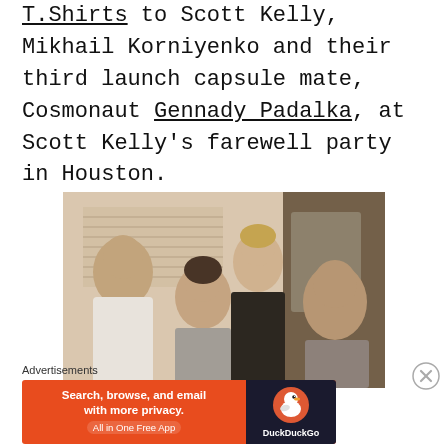T.Shirts to Scott Kelly, Mikhail Korniyenko and their third launch capsule mate, Cosmonaut Gennady Padalka, at Scott Kelly's farewell party in Houston.
[Figure (photo): Group photo of four people (three men and one woman) posing together indoors at a farewell party. The image has a warm, slightly vintage tone.]
Advertisements
[Figure (screenshot): DuckDuckGo advertisement banner: orange background with text 'Search, browse, and email with more privacy. All in One Free App' and DuckDuckGo duck logo on dark background.]